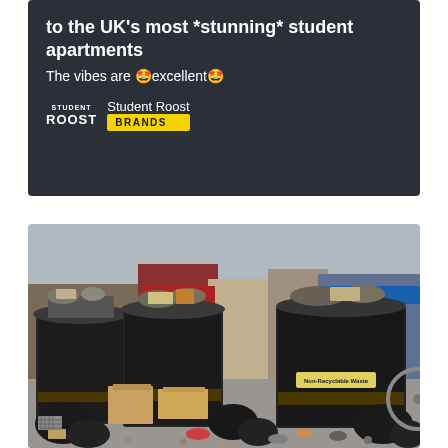[Figure (screenshot): Dark card with white text reading 'to the UK's most *stunning* student apartments' and subtitle 'The vibes are 🤩excellent🤩', with Student Roost logo and yellow BRANDS badge]
[Figure (photo): Outdoor photograph of overflowing black rubbish bins/dumpsters on a city street, surrounded by scattered waste, cardboard boxes, and black bin bags on the pavement. Urban street scene in background.]